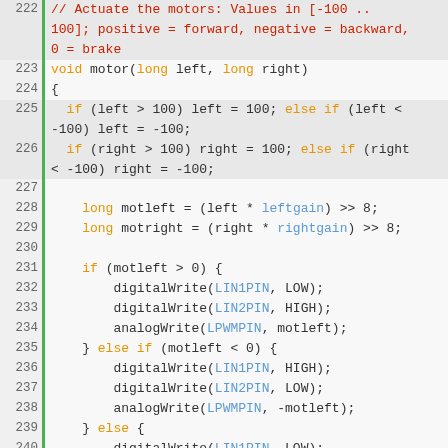[Figure (screenshot): Source code listing in C/C++ for a motor control function, lines 222-251, with syntax highlighting. Comments in red/brown, keywords in orange, identifiers/pins in blue, on a light gray background with green line number separator.]